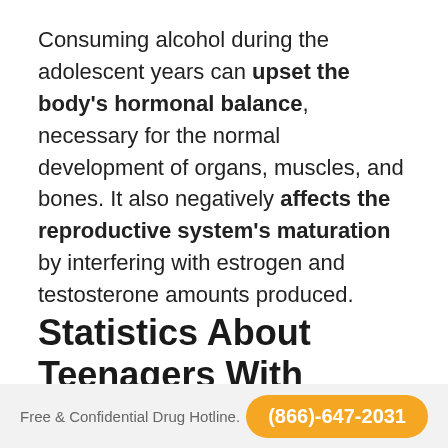Consuming alcohol during the adolescent years can upset the body's hormonal balance, necessary for the normal development of organs, muscles, and bones. It also negatively affects the reproductive system's maturation by interfering with estrogen and testosterone amounts produced.
Statistics About Teenagers With Alcohol Issues
| Table of Contents |
| --- |
much they drink is staggering and presents a
Free & Confidential Drug Hotline. (866)-647-2031